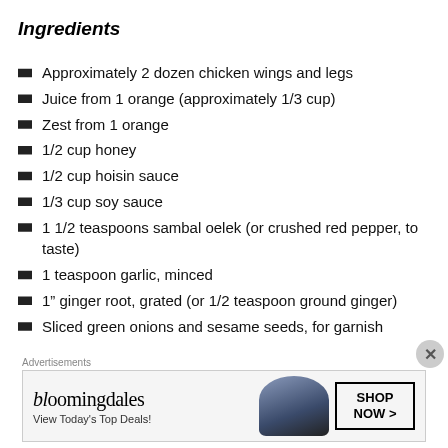Ingredients
Approximately 2 dozen chicken wings and legs
Juice from 1 orange (approximately 1/3 cup)
Zest from 1 orange
1/2 cup honey
1/2 cup hoisin sauce
1/3 cup soy sauce
1 1/2 teaspoons sambal oelek (or crushed red pepper, to taste)
1 teaspoon garlic, minced
1” ginger root, grated (or 1/2 teaspoon ground ginger)
Sliced green onions and sesame seeds, for garnish
[Figure (screenshot): Bloomingdale's advertisement banner with text 'View Today's Top Deals!' and 'SHOP NOW >' button]